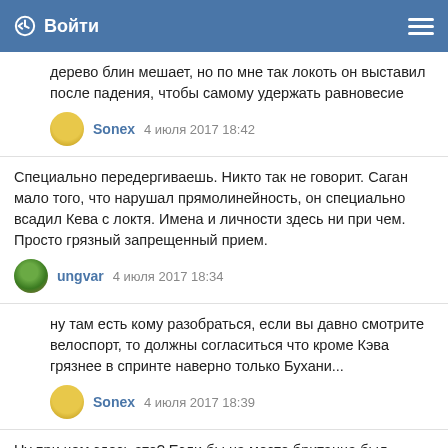Войти
дерево блин мешает, но по мне так локоть он выставил после падения, чтобы самому удержать равновесие
Sonex  4 июля 2017 18:42
Специально передергиваешь. Никто так не говорит. Саган мало того, что нарушал прямолинейность, он специально всадил Кева с локтя. Имена и личности здесь ни при чем. Просто грязный запрещенный прием.
ungvar  4 июля 2017 18:34
ну там есть кому разобраться, если вы давно смотрите велоспорт, то должны согласиться что кроме Кэва грязнее в спринте наверно только Бухани...
Sonex  4 июля 2017 18:39
Ну при чем здесь это? Если бы на месте британца был